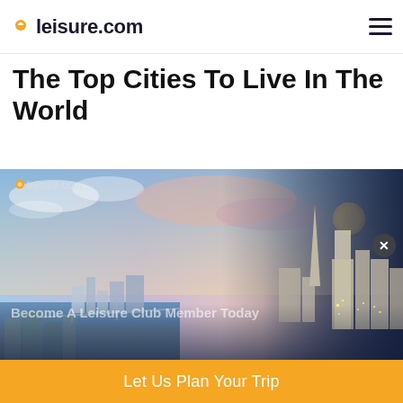leisure.com
The Top Cities To Live In The World
[Figure (photo): Panoramic photo of a city skyline (likely San Francisco) at dusk, showing tall skyscrapers, bay water, bay bridge, and a moon rising. The left portion has a lighter sky and the right portion is darker at dusk. A 'leisure.com' watermark logo appears in the top-left of the image, and 'Become A Leisure Club Member Today' text overlays the lower portion.]
Become A Leisure Club Member Today
Let Us Plan Your Trip